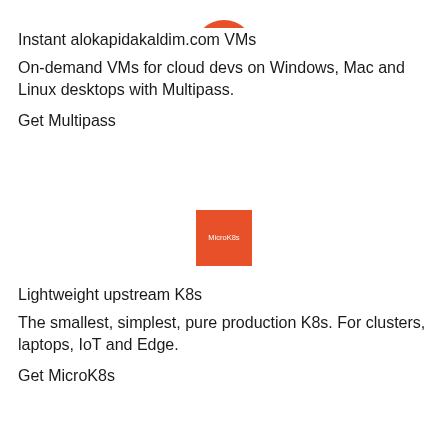[Figure (logo): Partial orange circular logo at top center (cropped at top edge)]
Instant alokapidakaldim.com VMs
On-demand VMs for cloud devs on Windows, Mac and Linux desktops with Multipass.
Get Multipass
[Figure (logo): MicroK8s logo — orange square with white text 'MicroK8s']
Lightweight upstream K8s
The smallest, simplest, pure production K8s. For clusters, laptops, IoT and Edge.
Get MicroK8s